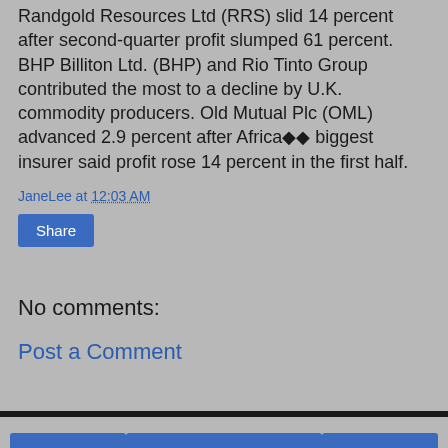Randgold Resources Ltd (RRS) slid 14 percent after second-quarter profit slumped 61 percent. BHP Billiton Ltd. (BHP) and Rio Tinto Group contributed the most to a decline by U.K. commodity producers. Old Mutual Plc (OML) advanced 2.9 percent after Africa's biggest insurer said profit rose 14 percent in the first half.
JaneLee at 12:03 AM
Share
No comments:
Post a Comment
Home | View web version | ABOUT ME